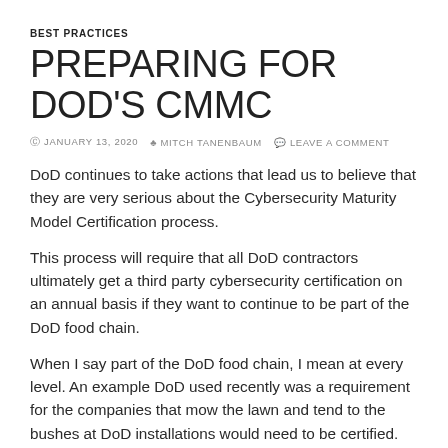BEST PRACTICES
PREPARING FOR DOD'S CMMC
© JANUARY 13, 2020   ♣ MITCH TANENBAUM   ✉ LEAVE A COMMENT
DoD continues to take actions that lead us to believe that they are very serious about the Cybersecurity Maturity Model Certification process.
This process will require that all DoD contractors ultimately get a third party cybersecurity certification on an annual basis if they want to continue to be part of the DoD food chain.
When I say part of the DoD food chain, I mean at every level. An example DoD used recently was a requirement for the companies that mow the lawn and tend to the bushes at DoD installations would need to be certified. EVERYONE is the